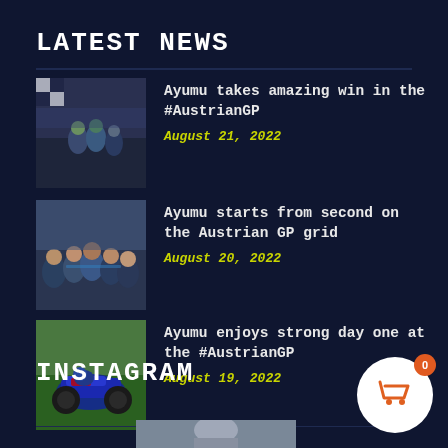LATEST NEWS
Ayumu takes amazing win in the #AustrianGP — August 21, 2022
Ayumu starts from second on the Austrian GP grid — August 20, 2022
Ayumu enjoys strong day one at the #AustrianGP — August 19, 2022
INSTAGRAM